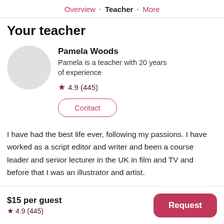Overview · Teacher · More
Your teacher
Pamela Woods
Pamela is a teacher with 20 years of experience
★ 4.9 (445)
Contact
I have had the best life ever, following my passions. I have worked as a script editor and writer and been a course leader and senior lecturer in the UK in film and TV and before that I was an illustrator and artist.
$15 per guest
★ 4.9 (445)
Request